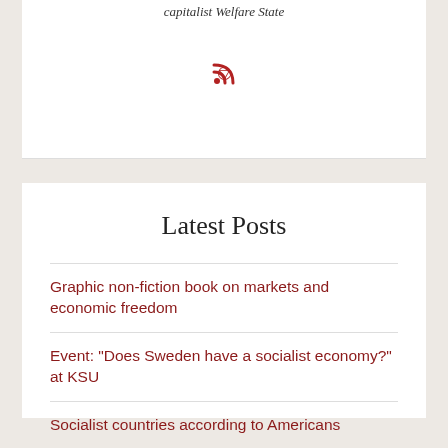capitalist Welfare State
Latest Posts
Graphic non-fiction book on markets and economic freedom
Event: "Does Sweden have a socialist economy?" at KSU
Socialist countries according to Americans
New paper on how the benefits of economic freedom are distributed
The Compensation Hypothesis Revisited and Reversed